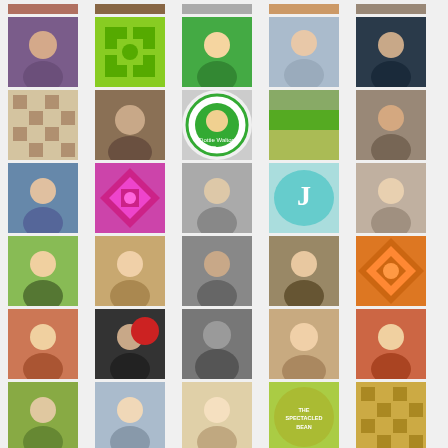[Figure (other): A 5-column grid of avatar/profile photos and decorative tile icons, showing approximately 35 user avatars including photos of people and decorative quilt-pattern placeholder images.]
CATEGORIES
[Figure (other): A dropdown select box with label 'Select Category:' and a right-pointing arrow/chevron.]